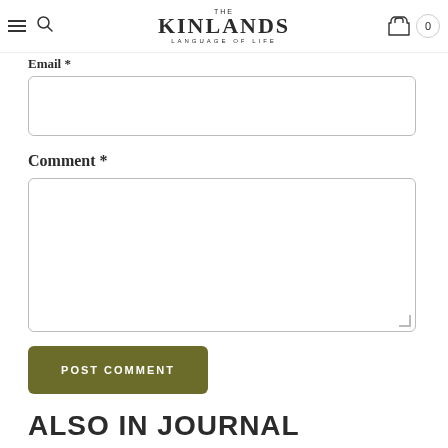THE KINLANDS LANGUAGE OF LIFE
Email *
Comment *
POST COMMENT
ALSO IN JOURNAL